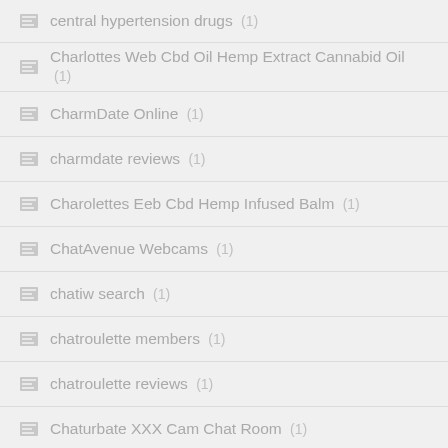central hypertension drugs (1)
Charlottes Web Cbd Oil Hemp Extract Cannabid Oil (1)
CharmDate Online (1)
charmdate reviews (1)
Charolettes Eeb Cbd Hemp Infused Balm (1)
ChatAvenue Webcams (1)
chatiw search (1)
chatroulette members (1)
chatroulette reviews (1)
Chaturbate XXX Cam Chat Room (1)